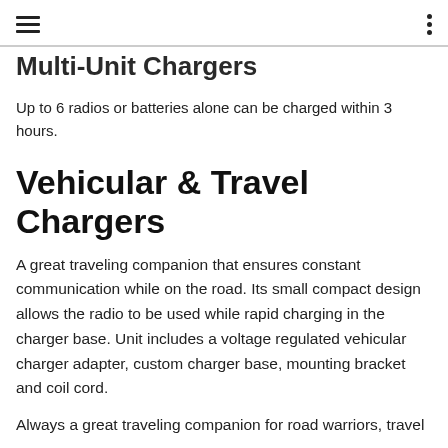Multi-Unit Chargers
Up to 6 radios or batteries alone can be charged within 3 hours.
Vehicular & Travel Chargers
A great traveling companion that ensures constant communication while on the road. Its small compact design allows the radio to be used while rapid charging in the charger base. Unit includes a voltage regulated vehicular charger adapter, custom charger base, mounting bracket and coil cord.
Always a great traveling companion for road warriors, travel